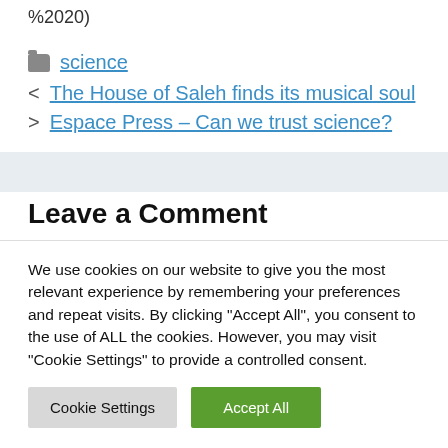%2020)
science
The House of Saleh finds its musical soul
Espace Press – Can we trust science?
Leave a Comment
We use cookies on our website to give you the most relevant experience by remembering your preferences and repeat visits. By clicking "Accept All", you consent to the use of ALL the cookies. However, you may visit "Cookie Settings" to provide a controlled consent.